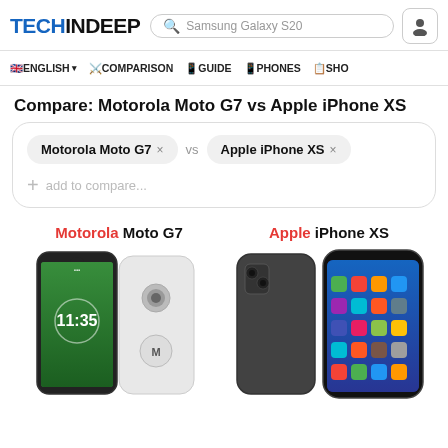TECHINDEEP — search bar: Samsung Galaxy S20
ENGLISH | COMPARISON | GUIDE | PHONES | SHO
Compare: Motorola Moto G7 vs Apple iPhone XS
Motorola Moto G7 × vs Apple iPhone XS × + add to compare...
Motorola Moto G7 | Apple iPhone XS
[Figure (photo): Motorola Moto G7 front and back view — white phone with green display showing 11:35]
[Figure (photo): Apple iPhone XS front and back view — dark gray phone showing home screen with apps]